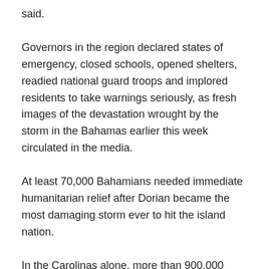said.
Governors in the region declared states of emergency, closed schools, opened shelters, readied national guard troops and implored residents to take warnings seriously, as fresh images of the devastation wrought by the storm in the Bahamas earlier this week circulated in the media.
At least 70,000 Bahamians needed immediate humanitarian relief after Dorian became the most damaging storm ever to hit the island nation.
In the Carolinas alone, more than 900,000 people had been ordered to evacuate their homes. It was unclear how many did so.
In Kill Devil Hills, in North Carolina's Outer Banks, Mark